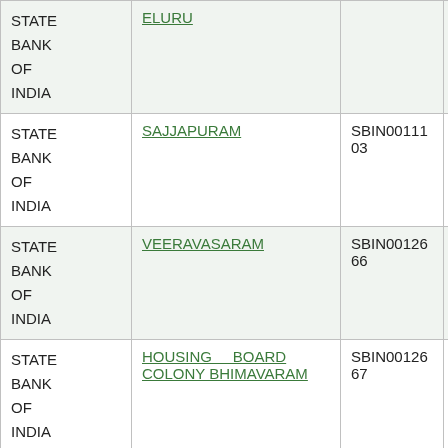| STATE BANK OF INDIA | ELURU |  |  |
| STATE BANK OF INDIA | SAJJAPURAM | SBIN0011103 | 534002203 |
| STATE BANK OF INDIA | VEERAVASARAM | SBIN0012666 | 534002407 |
| STATE BANK OF INDIA | HOUSING BOARD COLONY BHIMAVARAM | SBIN0012667 | 534002406 |
| STATE BANK OF INDIA | KOYYALAGUDEM | SBIN0012721 | 534002204 |